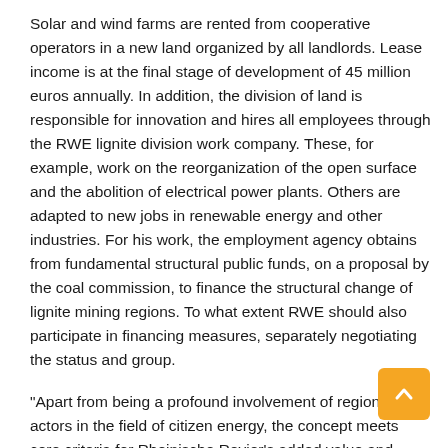Solar and wind farms are rented from cooperative operators in a new land organized by all landlords. Lease income is at the final stage of development of 45 million euros annually. In addition, the division of land is responsible for innovation and hires all employees through the RWE lignite division work company. These, for example, work on the reorganization of the open surface and the abolition of electrical power plants. Others are adapted to new jobs in renewable energy and other industries. For his work, the employment agency obtains from fundamental structural public funds, on a proposal by the coal commission, to finance the structural change of lignite mining regions. To what extent RWE should also participate in financing measures, separately negotiating the status and group.
"Apart from being a profound involvement of regional actors in the field of citizen energy, the concept meets core criteria for Rheinische Revier's added value and workforce," says Prof. Dr. Med. Bernd Hirschl, of the Institute of Ecological Economic Research (IÖW), is the main authority on socioeconomic issues. "The project can act as an initial spark for this traditional energy region in a model of energy transformation".